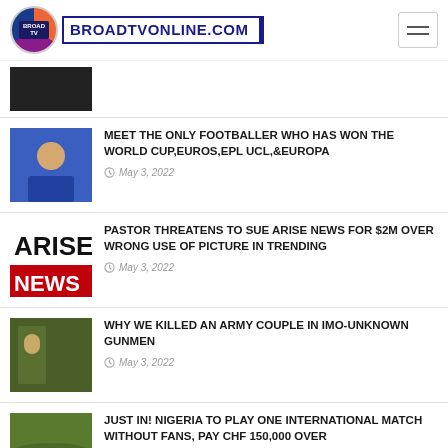BROADTVONLINE.COM
[Figure (photo): Partially visible dark image thumbnail]
MEET THE ONLY FOOTBALLER WHO HAS WON THE WORLD CUP,EUROS,EPL UCL,&EUROPA
May 3, 2022
[Figure (photo): ARISE NEWS logo thumbnail]
PASTOR THREATENS TO SUE ARISE NEWS FOR $2M OVER WRONG USE OF PICTURE IN TRENDING
May 3, 2022
[Figure (photo): Soldier in camouflage uniform thumbnail]
WHY WE KILLED AN ARMY COUPLE IN IMO-UNKNOWN GUNMEN
May 3, 2022
[Figure (photo): Football match/stadium thumbnail]
JUST IN! NIGERIA TO PLAY ONE INTERNATIONAL MATCH WITHOUT FANS, PAY CHF 150,000 OVER